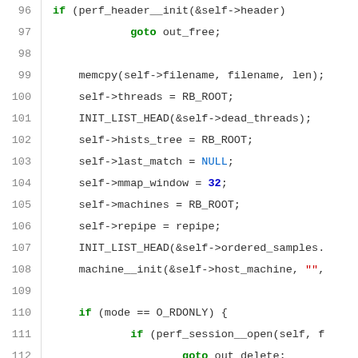[Figure (screenshot): Source code listing showing C code lines 96-123, with syntax highlighting: keywords in green bold, numeric literals in blue bold, string literals in red, NULL in blue, comments in gray. Line numbers shown on left with vertical separator.]